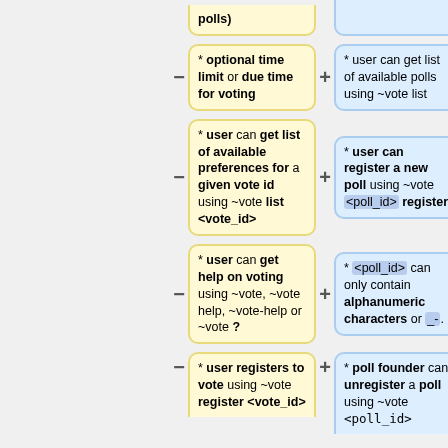[Figure (flowchart): Two-column flowchart showing features/constraints of a voting system. Left column (yellow boxes, minus signs): optional time limit or due time for voting; user can get list of available preferences for a given vote id using ~vote list <vote_id>; user can get help on voting using ~vote, ~vote help, ~vote-help or ~vote ?; user registers to vote using ~vote register <vote_id>. Right column (blue boxes, plus signs): user can get list of available polls using ~vote list; user can register a new poll using ~vote <poll_id> register; <poll_id> can only contain alphanumeric characters or _-.; poll founder can unregister a poll using ~vote <poll_id>]